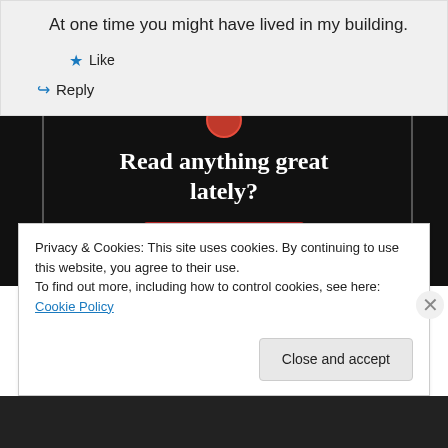At one time you might have lived in my building.
★ Like
↳ Reply
[Figure (screenshot): Dark promotional banner with text 'Read anything great lately?' and a red 'Start reading' button]
Privacy & Cookies: This site uses cookies. By continuing to use this website, you agree to their use. To find out more, including how to control cookies, see here: Cookie Policy
Close and accept